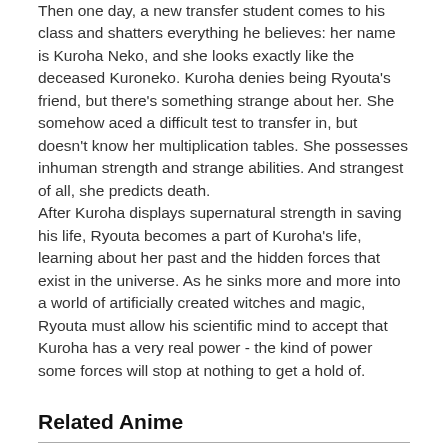Then one day, a new transfer student comes to his class and shatters everything he believes: her name is Kuroha Neko, and she looks exactly like the deceased Kuroneko. Kuroha denies being Ryouta's friend, but there's something strange about her. She somehow aced a difficult test to transfer in, but doesn't know her multiplication tables. She possesses inhuman strength and strange abilities. And strangest of all, she predicts death.
After Kuroha displays supernatural strength in saving his life, Ryouta becomes a part of Kuroha's life, learning about her past and the hidden forces that exist in the universe. As he sinks more and more into a world of artificially created witches and magic, Ryouta must allow his scientific mind to accept that Kuroha has a very real power - the kind of power some forces will stop at nothing to get a hold of.
Related Anime
Side story: Gokukoku no Brynhildr: Kara Sawagi
Download Gokukoku no Brynhildr